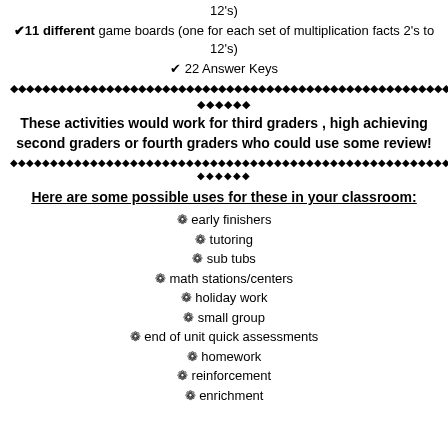12's)
✔ 11 different game boards (one for each set of multiplication facts 2's to 12's)
✔ 22 Answer Keys
◆◆◆◆◆◆◆◆◆◆◆◆◆◆◆◆◆◆◆◆◆◆◆◆◆◆◆◆◆◆◆◆◆◆◆◆◆◆◆◆◆◆◆◆◆◆◆◆◆◆◆◆◆◆◆
◆◆◆◆◆◆
These activities would work for third graders , high achieving second graders or fourth graders who could use some review!
◆◆◆◆◆◆◆◆◆◆◆◆◆◆◆◆◆◆◆◆◆◆◆◆◆◆◆◆◆◆◆◆◆◆◆◆◆◆◆◆◆◆◆◆◆◆◆◆◆
◆◆◆◆◆◆
Here are some possible uses for these in your classroom:
✿ early finishers
✿ tutoring
✿ sub tubs
✿ math stations/centers
✿ holiday work
✿ small group
✿ end of unit quick assessments
✿ homework
✿ reinforcement
✿ enrichment